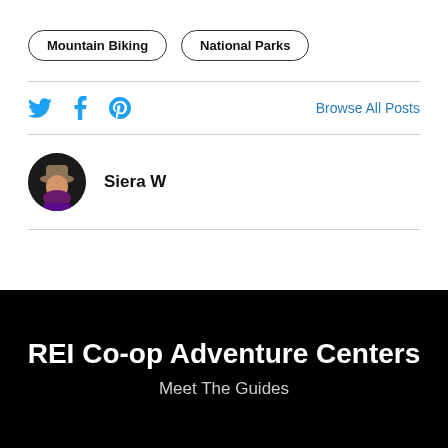Mountain Biking
National Parks
Browse All Posts
Siera W
REI Co-op Adventure Centers
Meet The Guides